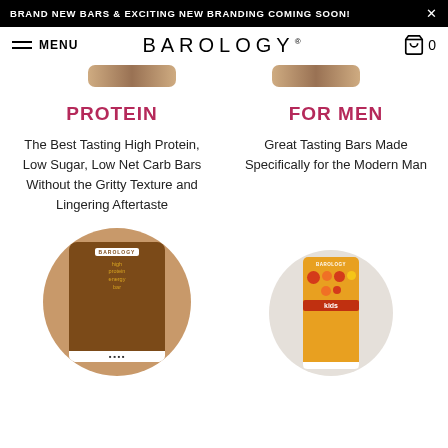BRAND NEW BARS & EXCITING NEW BRANDING COMING SOON!
BAROLOGY — MENU — 0 (cart)
[Figure (photo): Two Barology protein bar product images displayed horizontally]
PROTEIN
The Best Tasting High Protein, Low Sugar, Low Net Carb Bars Without the Gritty Texture and Lingering Aftertaste
FOR MEN
Great Tasting Bars Made Specifically for the Modern Man
[Figure (photo): Barology high protein energy bar product in circular brown packaging]
[Figure (photo): Barology kids bar product in yellow/orange packaging with colorful dots]